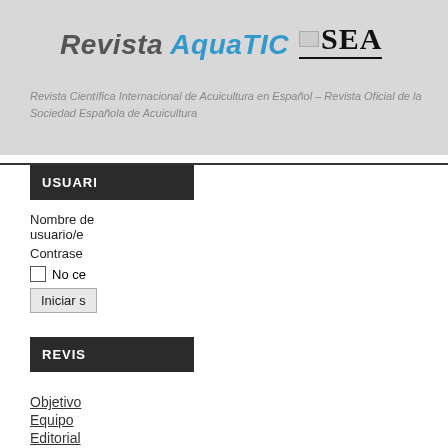[Figure (logo): Revista AquaTIC and SEA logos in a gray header banner]
Revista Científica Internacional de Acuicultura en Español – Revista Oficial de la Sociedad Española de Acuicultura
USUARIO
Nombre de usuario/e
Contraseña
No ce
Iniciar s
REVISTA
Objetivo
Equipo Editorial